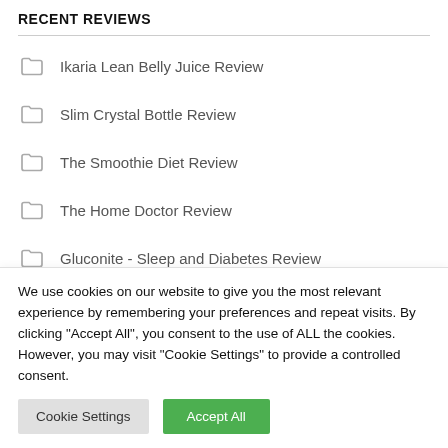RECENT REVIEWS
Ikaria Lean Belly Juice Review
Slim Crystal Bottle Review
The Smoothie Diet Review
The Home Doctor Review
Gluconite - Sleep and Diabetes Review
We use cookies on our website to give you the most relevant experience by remembering your preferences and repeat visits. By clicking "Accept All", you consent to the use of ALL the cookies. However, you may visit "Cookie Settings" to provide a controlled consent.